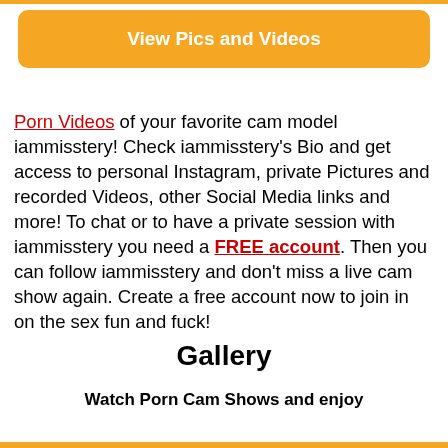[Figure (other): Orange button with white bold text 'View Pics and Videos']
Porn Videos of your favorite cam model iammisstery! Check iammisstery's Bio and get access to personal Instagram, private Pictures and recorded Videos, other Social Media links and more! To chat or to have a private session with iammisstery you need a FREE account. Then you can follow iammisstery and don't miss a live cam show again. Create a free account now to join in on the sex fun and fuck!
Gallery
Watch Porn Cam Shows and enjoy